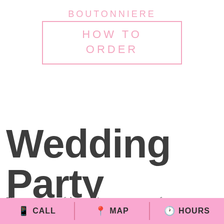BOUTONNIERE HOW TO ORDER
Wedding Party Flowers
Flowers are one of the most important aspects of a
CALL   MAP   HOURS